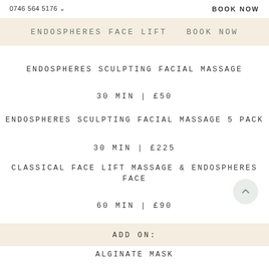0746 564 5176 ∨    BOOK NOW
ENDOSPHERES FACE LIFT BOOK NOW
ENDOSPHERES SCULPTING FACIAL MASSAGE
30 MIN | £50
ENDOSPHERES SCULPTING FACIAL MASSAGE 5 PACK
30 MIN | £225
CLASSICAL FACE LIFT MASSAGE & ENDOSPHERES FACE
60 MIN | £90
ADD ON:
ALGINATE MASK